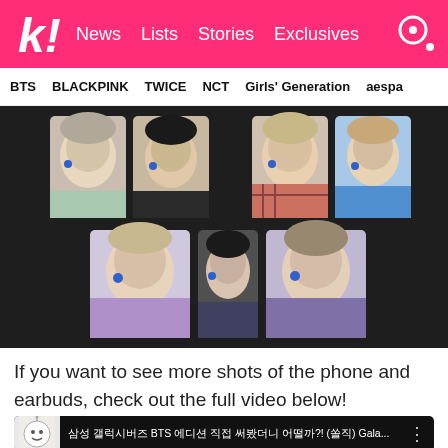k! News Lists Stories Exclusives
BTS BLACKPINK TWICE NCT Girls' Generation aespa
[Figure (photo): Seven BTS photocards arranged on a dark background, each showing a BTS member wearing blue wireless earbuds. Top row has four cards, bottom row has three cards.]
If you want to see more shots of the phone and earbuds, check out the full video below!
[Figure (screenshot): YouTube video thumbnail showing a Korean-language video title about BTS Galaxy earbuds, with a character mascot icon on the left.]